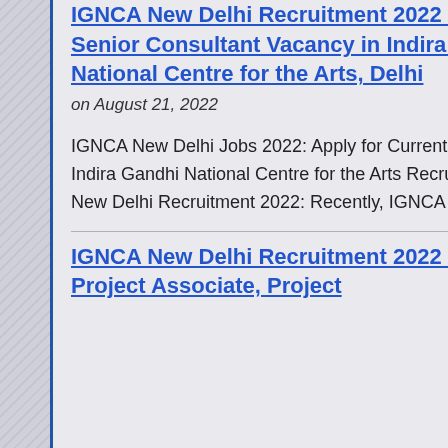IGNCA New Delhi Recruitment 2022 – Apply Senior Consultant Vacancy in Indira Gandhi National Centre for the Arts, Delhi
on August 21, 2022
IGNCA New Delhi Jobs 2022: Apply for Current Vacancy in Indira Gandhi National Centre for the Arts Recruitment IGNCA New Delhi Recruitment 2022: Recently, IGNCA New [...]
IGNCA New Delhi Recruitment 2022 – Apply Project Associate, Project